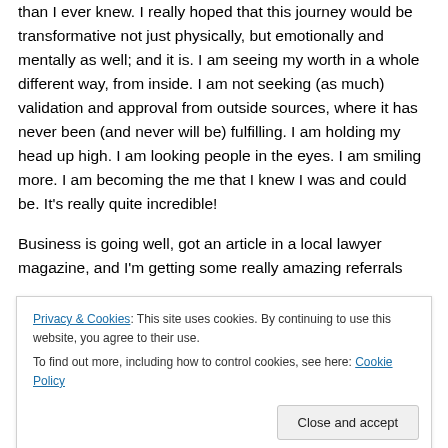than I ever knew. I really hoped that this journey would be transformative not just physically, but emotionally and mentally as well; and it is. I am seeing my worth in a whole different way, from inside. I am not seeking (as much) validation and approval from outside sources, where it has never been (and never will be) fulfilling. I am holding my head up high. I am looking people in the eyes. I am smiling more. I am becoming the me that I knew I was and could be. It's really quite incredible!
Business is going well, got an article in a local lawyer magazine, and I'm getting some really amazing referrals
Privacy & Cookies: This site uses cookies. By continuing to use this website, you agree to their use.
To find out more, including how to control cookies, see here: Cookie Policy
Close and accept
law firm Facebook page): Life is good!